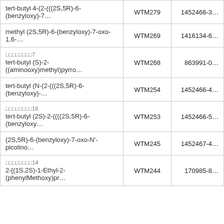| Name | Code | CAS |
| --- | --- | --- |
| (2S,5R)-methyl 2-((benzyl/tert-butyl...)...
tert-butyl 4-(2-(((2S,5R)-6-(benzyloxy)-7… | WTM279 | 1452466-3… |
| methyl (2S,5R)-6-(benzyloxy)-7-oxo-1,6-… | WTM269 | 1416134-6… |
| □□□□□□□□7
tert-butyl (S)-2-((aminooxy)methyl)pyrro… | WTM268 | 863991-0… |
| tert-butyl (N-(2-(((2S,5R)-6-(benzyloxy)-… | WTM254 | 1452466-4… |
| □□□□□□□□16
tert-butyl (2S)-2-((((2S,5R)-6-(benzyloxy… | WTM253 | 1452466-5… |
| (2S,5R)-6-(benzyloxy)-7-oxo-N'-picolino… | WTM245 | 1452467-4… |
| □□□□□□□□14
2-[(1S,2S)-1-Ethyl-2-(phenylMethoxy)pr… | WTM244 | 170985-8… |